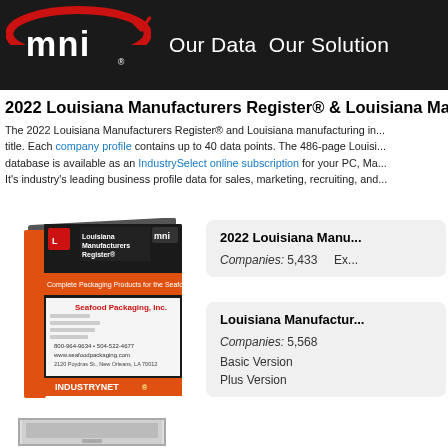MNI — Our Data  Our Solution
2022 Louisiana Manufacturers Register® & Louisiana Manu...
The 2022 Louisiana Manufacturers Register® and Louisiana manufacturing inc... title. Each company profile contains up to 40 data points. The 486-page Louisi... database is available as an IndustrySelect online subscription for your PC, Ma... It's industry's leading business profile data for sales, marketing, recruiting, and...
[Figure (photo): Book cover of 2022 Louisiana Manufacturers Register with orange and black design, showing a company profile page and IndustryNet logo]
2022 Louisiana Manu...
Companies: 5,433   Ex...
Louisiana Manufactu...
Companies: 5,568
Basic Version
Plus Version
[Figure (screenshot): Screen or monitor thumbnail image]